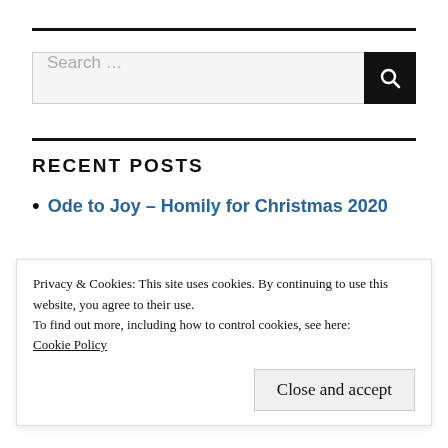[Figure (other): Horizontal black rule divider]
[Figure (other): Search bar with text input 'Search ...' and black search button with magnifying glass icon]
[Figure (other): Horizontal black rule divider]
RECENT POSTS
Ode to Joy – Homily for Christmas 2020
Privacy & Cookies: This site uses cookies. By continuing to use this website, you agree to their use.
To find out more, including how to control cookies, see here:
Cookie Policy
Close and accept